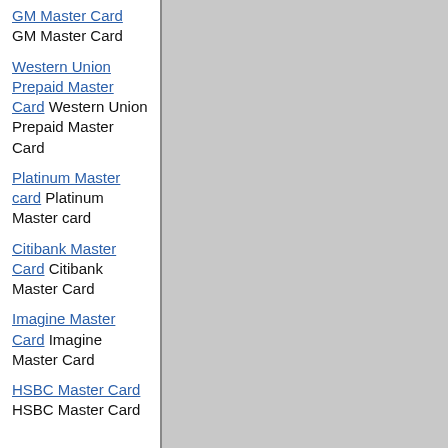GM Master Card GM Master Card
Western Union Prepaid Master Card Western Union Prepaid Master Card
Platinum Master card Platinum Master card
Citibank Master Card Citibank Master Card
Imagine Master Card Imagine Master Card
HSBC Master Card HSBC Master Card